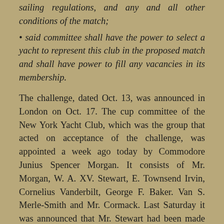sailing regulations, and any and all other conditions of the match;
• said committee shall have the power to select a yacht to represent this club in the proposed match and shall have power to fill any vacancies in its membership.
The challenge, dated Oct. 13, was announced in London on Oct. 17. The cup committee of the New York Yacht Club, which was the group that acted on acceptance of the challenge, was appointed a week ago today by Commodore Junius Spencer Morgan. It consists of Mr. Morgan, W. A. XV. Stewart, E. Townsend Irvin, Cornelius Vanderbilt, George F. Baker. Van S. Merle-Smith and Mr. Cormack. Last Saturday it was announced that Mr. Stewart had been made chairman and Mr. Cormack secretary of the committee.
To Carry on Correspondence
It now rests with the committee to arrange the conditions of the match and to call for the construction of one or more defense